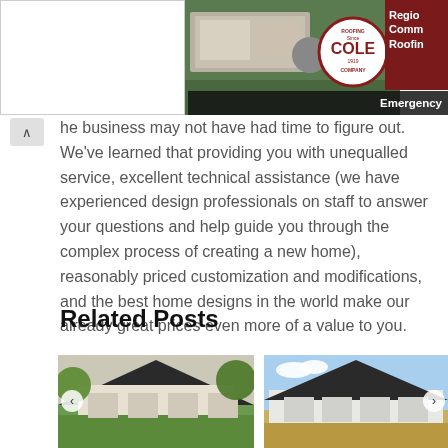[Figure (photo): Advertisement banner for Cole Roofing Company showing aerial view of a building, company logo in a circle, dark red background with text 'Regional Commercial Roofing' and 'Emergency' label.]
he business may not have had time to figure out. We've learned that providing you with unequalled service, excellent technical assistance (we have experienced design professionals on staff to answer your questions and help guide you through the complex process of creating a new home), reasonably priced customization and modifications, and the best home designs in the world make our already great prices even more of a value to you.
Related Posts
[Figure (photo): Photo of a traditional farmhouse-style home with dark roof, large front porch, surrounded by trees and green lawn.]
[Figure (photo): Photo of a modern white brick home with dark roof, large windows, under a blue sky.]